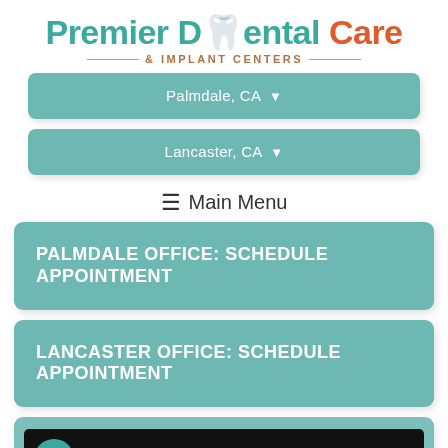[Figure (logo): Premier Dental Care & Implant Centers logo with teal and orange text]
Palmdale, CA ▾
Lancaster, CA ▾
≡ Main Menu
PALMDALE OFFICE: SCHEDULE APPOINTMENT
LANCASTER OFFICE: SCHEDULE APPOINTMENT
[Figure (screenshot): Video thumbnail preview showing 'What Makes Premier Dental ...' with teal P icon and three-dot menu on black background]